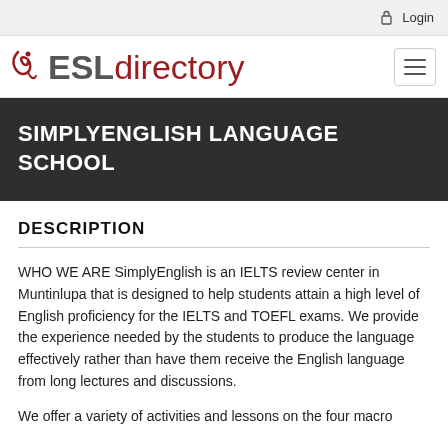Login
[Figure (logo): ESLdirectory logo with stylized bird icon, 'ESL' in gray bold and 'directory' in dark red]
SIMPLYENGLISH LANGUAGE SCHOOL
DESCRIPTION
WHO WE ARE SimplyEnglish is an IELTS review center in Muntinlupa that is designed to help students attain a high level of English proficiency for the IELTS and TOEFL exams. We provide the experience needed by the students to produce the language effectively rather than have them receive the English language from long lectures and discussions.
We offer a variety of activities and lessons on the four macro